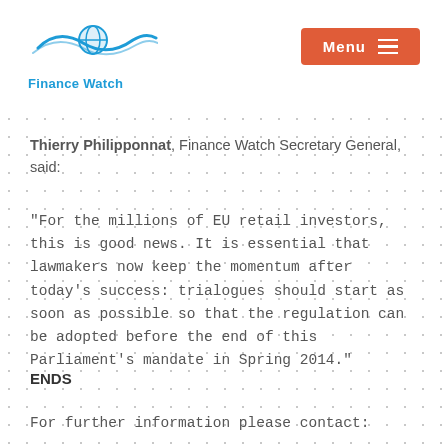Finance Watch | Menu
Thierry Philipponnat, Finance Watch Secretary General, said:
"For the millions of EU retail investors, this is good news. It is essential that lawmakers now keep the momentum after today's success: trialogues should start as soon as possible so that the regulation can be adopted before the end of this Parliament's mandate in Spring 2014."
ENDS
For further information please contact: